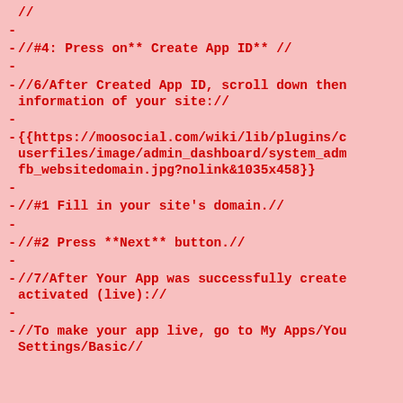//
-
//#4: Press on** Create App ID** //
-
//6/After Created App ID, scroll down then information of your site://
-
{{https://moosocial.com/wiki/lib/plugins/c userfiles/image/admin_dashboard/system_adm fb_websitedomain.jpg?nolink&1035x458}}
-
//#1 Fill in your site's domain.//
-
//#2 Press **Next** button.//
-
//7/After Your App was successfully create activated (live)://
-
//To make your app live, go to My Apps/You Settings/Basic//